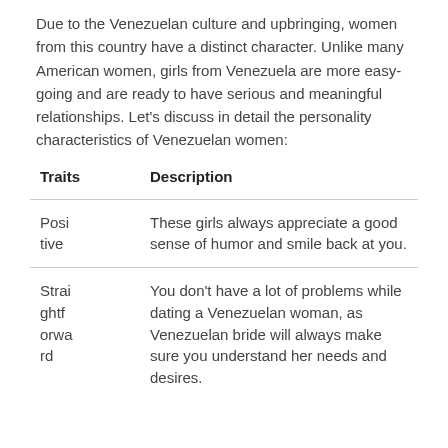Due to the Venezuelan culture and upbringing, women from this country have a distinct character. Unlike many American women, girls from Venezuela are more easy-going and are ready to have serious and meaningful relationships. Let's discuss in detail the personality characteristics of Venezuelan women:
| Traits | Description |
| --- | --- |
| Positive | These girls always appreciate a good sense of humor and smile back at you. |
| Straightforward | You don't have a lot of problems while dating a Venezuelan woman, as Venezuelan bride will always make sure you understand her needs and desires. |